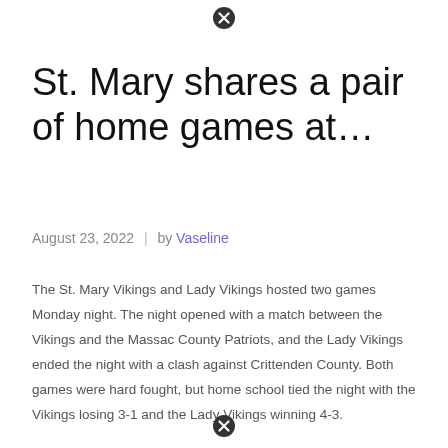St. Mary shares a pair of home games at…
August 23, 2022  |  by Vaseline
The St. Mary Vikings and Lady Vikings hosted two games Monday night. The night opened with a match between the Vikings and the Massac County Patriots, and the Lady Vikings ended the night with a clash against Crittenden County. Both games were hard fought, but home school tied the night with the Vikings losing 3-1 and the Lady Vikings winning 4-3.
It took the Lady Vikings everything they could to claim the win as the game was knotted with ties for most of the game. The first goal came just eight minutes into the game thanks to sophomore Katie O'Neill. She shot the ball up and went out of reach of the Lady Rockets keeper to take an early 1-0 lead.